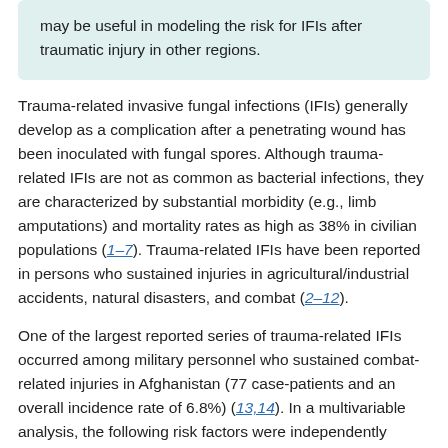may be useful in modeling the risk for IFIs after traumatic injury in other regions.
Trauma-related invasive fungal infections (IFIs) generally develop as a complication after a penetrating wound has been inoculated with fungal spores. Although trauma-related IFIs are not as common as bacterial infections, they are characterized by substantial morbidity (e.g., limb amputations) and mortality rates as high as 38% in civilian populations (1–7). Trauma-related IFIs have been reported in persons who sustained injuries in agricultural/industrial accidents, natural disasters, and combat (2–12).
One of the largest reported series of trauma-related IFIs occurred among military personnel who sustained combat-related injuries in Afghanistan (77 case-patients and an overall incidence rate of 6.8%) (13,14). In a multivariable analysis, the following risk factors were independently associated with the development of IFIs: blast injuries sustained while person was on foot patrol (dismounted), traumatic